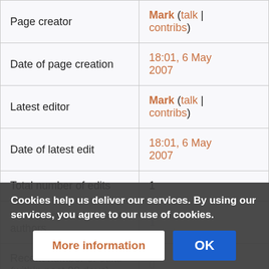|  |  |
| --- | --- |
| Page creator | Mark (talk | contribs) |
| Date of page creation | 18:01, 6 May 2007 |
| Latest editor | Mark (talk | contribs) |
| Date of latest edit | 18:01, 6 May 2007 |
| Total number of edits | 1 |
| Total number of distinct authors | 1 |
| Recent number of edits (within past 90 days) | 0 |
Cookies help us deliver our services. By using our services, you agree to our use of cookies.